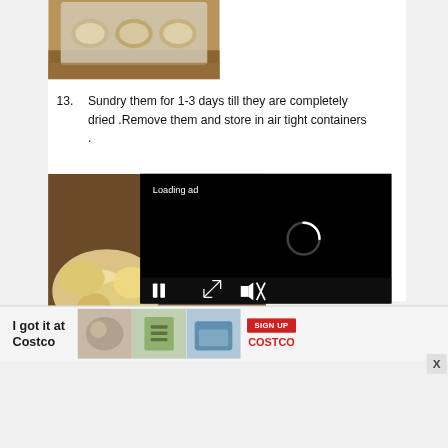[Figure (photo): Photo of food items on a tray on a wooden surface]
13. Sundry them for 1-3 days till they are completely dried .Remove them and store in air tight containers .
[Figure (photo): Photo of popcorn or similar snack on a dark wooden surface, partially covered by a video ad overlay showing 'Loading ad' with a spinner and playback controls]
[Figure (screenshot): Banner advertisement: 'I got it at Costco' with photos and SIGN UP button for Costco]